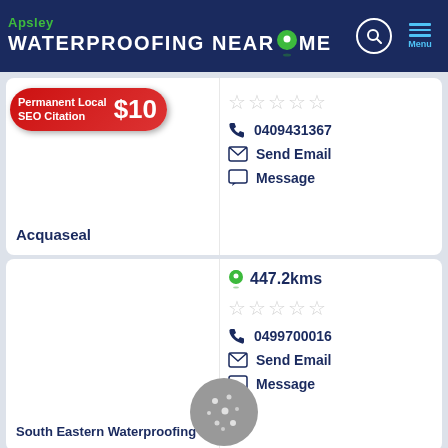Apsley WATERPROOFING NEAR ME
Permanent Local SEO Citation $10
Acquaseal
0409431367
Send Email
Message
447.2kms
South Eastern Waterproofing
0499700016
Send Email
Message